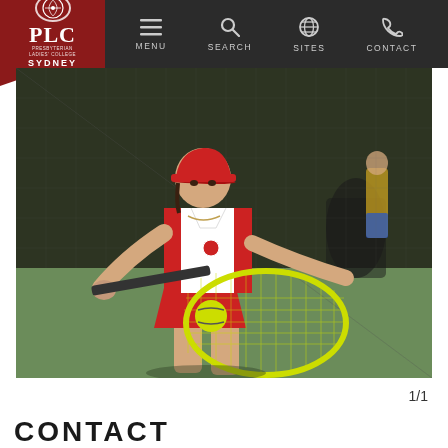PLC Presbyterian Ladies College Sydney 1888 — MENU | SEARCH | SITES | CONTACT
[Figure (photo): A female student in a PLC red and white tennis uniform hitting a backhand shot on a tennis court. She wears a red cap and holds a yellow-strung racquet. A yellow tennis ball is visible. Background shows other players and spectators near a chain-link fence.]
1/1
CONTACT